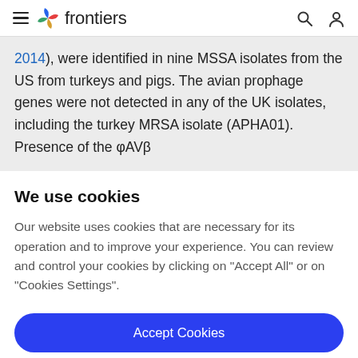frontiers
2014), were identified in nine MSSA isolates from the US from turkeys and pigs. The avian prophage genes were not detected in any of the UK isolates, including the turkey MRSA isolate (APHA01). Presence of the φAVβ
We use cookies
Our website uses cookies that are necessary for its operation and to improve your experience. You can review and control your cookies by clicking on "Accept All" or on "Cookies Settings".
Accept Cookies
Cookies Settings